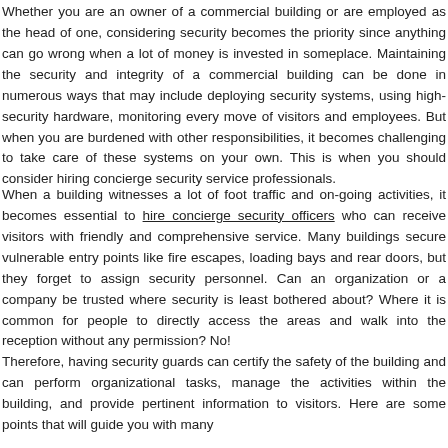Whether you are an owner of a commercial building or are employed as the head of one, considering security becomes the priority since anything can go wrong when a lot of money is invested in someplace. Maintaining the security and integrity of a commercial building can be done in numerous ways that may include deploying security systems, using high-security hardware, monitoring every move of visitors and employees. But when you are burdened with other responsibilities, it becomes challenging to take care of these systems on your own. This is when you should consider hiring concierge security service professionals.
When a building witnesses a lot of foot traffic and on-going activities, it becomes essential to hire concierge security officers who can receive visitors with friendly and comprehensive service. Many buildings secure vulnerable entry points like fire escapes, loading bays and rear doors, but they forget to assign security personnel. Can an organization or a company be trusted where security is least bothered about? Where it is common for people to directly access the areas and walk into the reception without any permission? No!
Therefore, having security guards can certify the safety of the building and can perform organizational tasks, manage the activities within the building, and provide pertinent information to visitors. Here are some points that will guide you with many